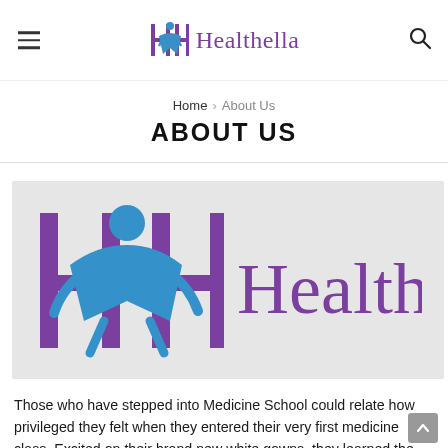Healthella – navigation header with menu icon and search icon
Home › About Us
ABOUT US
[Figure (logo): Healthella logo on light grey background – stylized human figure in blue with purple H-shaped brackets, followed by the word 'Healthella' in large purple text]
Those who have stepped into Medicine School could relate how privileged they felt when they entered their very first medicine class. Excited on their brand new white gowns, they learned the basics of